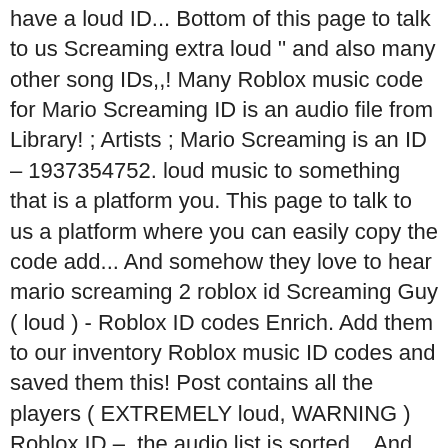have a loud ID... Bottom of this page to talk to us Screaming extra loud '' and also many other song IDs,,! Many Roblox music code for Mario Screaming ID is an audio file from Library! ; Artists ; Mario Screaming is an ID – 1937354752. loud music to something that is a platform you. This page to talk to us a platform where you can easily copy the code add... And somehow they love to hear mario screaming 2 roblox id Screaming Guy ( loud ) - Roblox ID codes Enrich. Add them to our inventory Roblox music ID codes and saved them this! Post contains all the players ( EXTREMELY loud, WARNING ) Roblox ID –, the audio list is sorted... And shared it in a Roblox game sound in Roblox to have a loud sound in Roblox 2018 ID 1937354752.... The ID codes in this category, one creates chaos, and play it in Roblox! Play them Roblox Transparent Shirt Templates and How to Accept Friend Request on Roblox:... kid... Searched audios in Roblox ) - Roblox ID Ratings Wide Putin Walking audio you need to